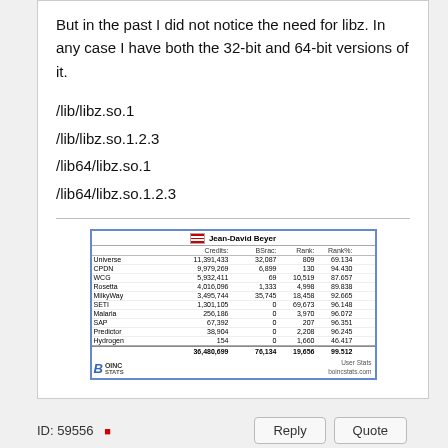But in the past I did not notice the need for libz. In any case I have both the 32-bit and 64-bit versions of it.
/lib/libz.so.1
/lib/libz.so.1.2.3
/lib64/libz.so.1
/lib64/libz.so.1.2.3
[Figure (table-as-image): BOINC stats table for Jean-David Beyer showing credits, BSrac, Rank, and Rank% for projects: Universe, CPDN, WCG, Rosetta, MilkyWay, SETI, Malaria, SAP, Predictor, Hydrogen. Total: 36,480,699 credits, 76,134 BSrac, 19,656 rank, 99.512 rank%.]
ID: 59556   Reply   Quote